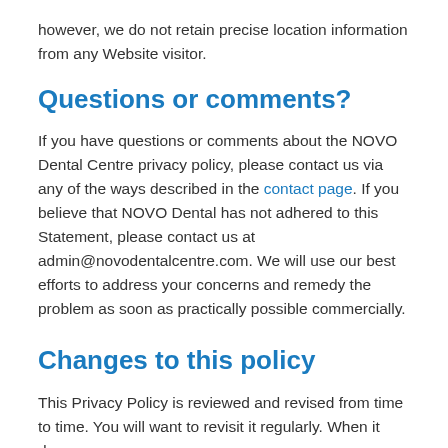however, we do not retain precise location information from any Website visitor.
Questions or comments?
If you have questions or comments about the NOVO Dental Centre privacy policy, please contact us via any of the ways described in the contact page. If you believe that NOVO Dental has not adhered to this Statement, please contact us at admin@novodentalcentre.com. We will use our best efforts to address your concerns and remedy the problem as soon as practically possible commercially.
Changes to this policy
This Privacy Policy is reviewed and revised from time to time. You will want to revisit it regularly. When it does